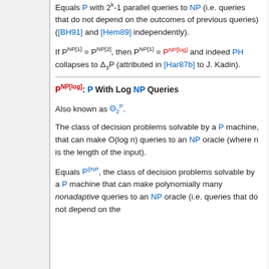Equals P with 2^k-1 parallel queries to NP (i.e. queries that do not depend on the outcomes of previous queries) ([BH91] and [Hem89] independently).
If P^NP[1] = P^NP[2], then P^NP[1] = P^NP[log] and indeed PH collapses to Δ₃P (attributed in [Har87b] to J. Kadin).
P^NP[log]: P With Log NP Queries
Also known as Θ₂^P.
The class of decision problems solvable by a P machine, that can make O(log n) queries to an NP oracle (where n is the length of the input).
Equals P^||NP, the class of decision problems solvable by a P machine that can make polynomially many nonadaptive queries to an NP oracle (i.e. queries that do not depend on the